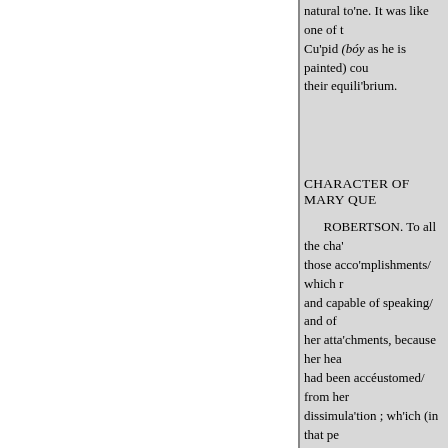natural to'ne. It was like one of the Cu'pid (bóy as he is painted) cou their equili'brium.
CHARACTER OF MARY QUE
ROBERTSON. To all the cha' those acco'mplishments/ which r and capable of speaking/ and of her atta'chments, because her hea had been accéustomed/ from her dissimula'tion ; wh'ich (in that pe the necessary-arts-of-governmen wo'man/ beholds the influence o talents that we adm'ire, she was a
The vivacity of her spi'rit (not su (which was not/ at a'll times/ und
* When the definite article occ sounded nearly like the pronoun
+ "Necessary arts of governm